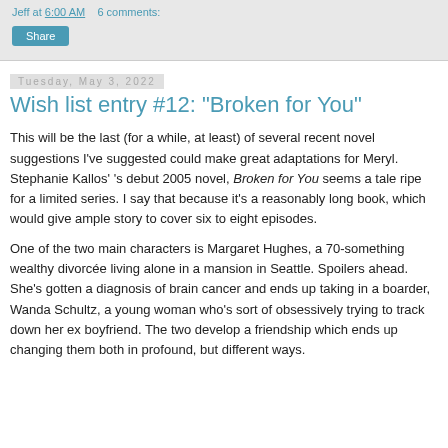Jeff at 6:00 AM   6 comments:
Share
Tuesday, May 3, 2022
Wish list entry #12: "Broken for You"
This will be the last (for a while, at least) of several recent novel suggestions I've suggested could make great adaptations for Meryl. Stephanie Kallos' 's debut 2005 novel, Broken for You seems a tale ripe for a limited series. I say that because it's a reasonably long book, which would give ample story to cover six to eight episodes.
One of the two main characters is Margaret Hughes, a 70-something wealthy divorcée living alone in a mansion in Seattle. Spoilers ahead. She's gotten a diagnosis of brain cancer and ends up taking in a boarder, Wanda Schultz, a young woman who's sort of obsessively trying to track down her ex boyfriend. The two develop a friendship which ends up changing them both in profound, but different ways.